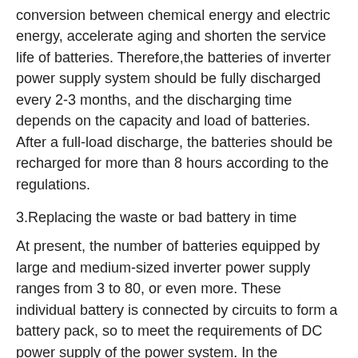conversion between chemical energy and electric energy, accelerate aging and shorten the service life of batteries. Therefore,the batteries of inverter power supply system should be fully discharged every 2-3 months, and the discharging time depends on the capacity and load of batteries. After a full-load discharge, the batteries should be recharged for more than 8 hours according to the regulations.
3.Replacing the waste or bad battery in time
At present, the number of batteries equipped by large and medium-sized inverter power supply ranges from 3 to 80, or even more. These individual battery is connected by circuits to form a battery pack, so to meet the requirements of DC power supply of the power system. In the continuous operation and use of that, it is inevitable that the performance of individual batteries will decline, and the storage capacity will fail to meet the requirements and damage due to the difference in performance and quality.